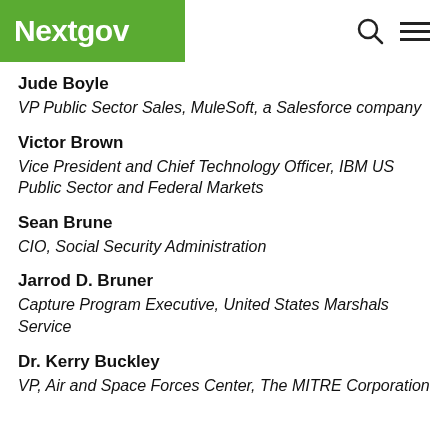Nextgov
Jude Boyle
VP Public Sector Sales, MuleSoft, a Salesforce company
Victor Brown
Vice President and Chief Technology Officer, IBM US Public Sector and Federal Markets
Sean Brune
CIO, Social Security Administration
Jarrod D. Bruner
Capture Program Executive, United States Marshals Service
Dr. Kerry Buckley
VP, Air and Space Forces Center, The MITRE Corporation